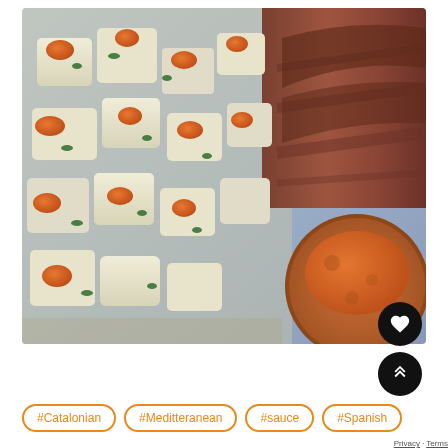[Figure (photo): Close-up photo of a Spanish/Catalonian dish: boiled potato cubes topped with orange romesco sauce and fresh parsley, alongside sliced grilled meat and a round bread/tomato-rubbed toast with romesco sauce on a decorative plate.]
#Catalonian
#Meditteranean
#sauce
#Spanish